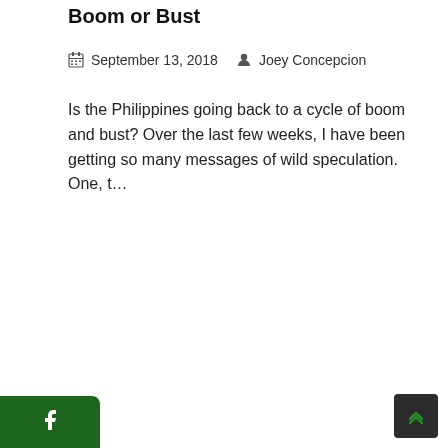Boom or Bust
September 13, 2018   Joey Concepcion
Is the Philippines going back to a cycle of boom and bust? Over the last few weeks, I have been getting so many messages of wild speculation. One, t...
[Figure (other): Social media sidebar with dark green background showing Facebook, Twitter, and Instagram icons, plus an 'img' text label in gold/yellow]
[Figure (other): Dark scroll-to-top button with green upward chevron arrow in bottom-right corner]